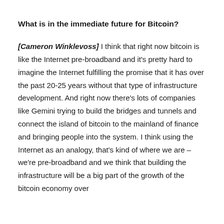What is in the immediate future for Bitcoin?
[Cameron Winklevoss] I think that right now bitcoin is like the Internet pre-broadband and it's pretty hard to imagine the Internet fulfilling the promise that it has over the past 20-25 years without that type of infrastructure development. And right now there's lots of companies like Gemini trying to build the bridges and tunnels and connect the island of bitcoin to the mainland of finance and bringing people into the system. I think using the Internet as an analogy, that's kind of where we are – we're pre-broadband and we think that building the infrastructure will be a big part of the growth of the bitcoin economy over